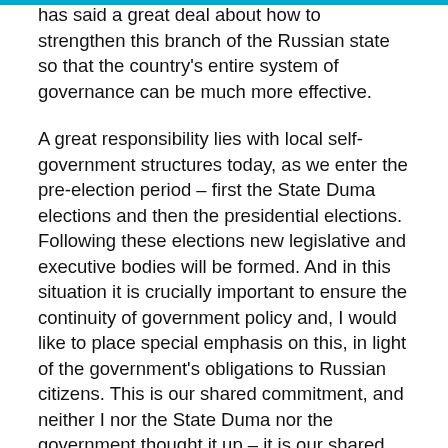has said a great deal about how to strengthen this branch of the Russian state so that the country's entire system of governance can be much more effective.
A great responsibility lies with local self-government structures today, as we enter the pre-election period – first the State Duma elections and then the presidential elections. Following these elections new legislative and executive bodies will be formed. And in this situation it is crucially important to ensure the continuity of government policy and, I would like to place special emphasis on this, in light of the government's obligations to Russian citizens. This is our shared commitment, and neither I nor the State Duma nor the government thought it up – it is our shared obligation to Russian citizens.
Given the importance of the forthcoming parliamentary elections it is necessary to create all necessary conditions to enable more Russians to participate in them. The heads of local self-government must play an active role in this.